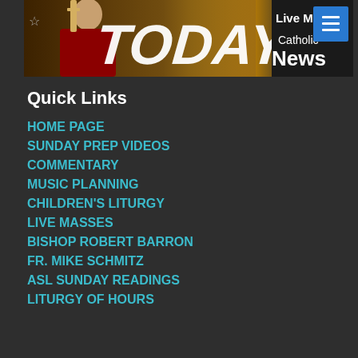[Figure (photo): Banner image showing a Catholic priest in ceremonial robes with text 'TODAY', 'Live Masses', 'Catholic News' on a gold and dark background with a hamburger menu button]
Quick Links
HOME PAGE
SUNDAY PREP VIDEOS
COMMENTARY
MUSIC PLANNING
CHILDREN'S LITURGY
LIVE MASSES
BISHOP ROBERT BARRON
FR. MIKE SCHMITZ
ASL SUNDAY READINGS
LITURGY OF HOURS